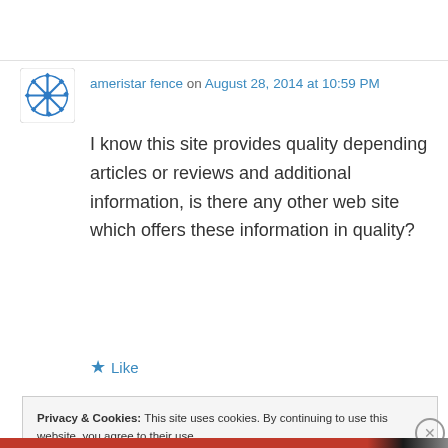ameristar fence on August 28, 2014 at 10:59 PM
I know this site provides quality depending articles or reviews and additional information, is there any other web site which offers these information in quality?
★ Like
Privacy & Cookies: This site uses cookies. By continuing to use this website, you agree to their use.
To find out more, including how to control cookies, see here: Cookie Policy
Close and accept